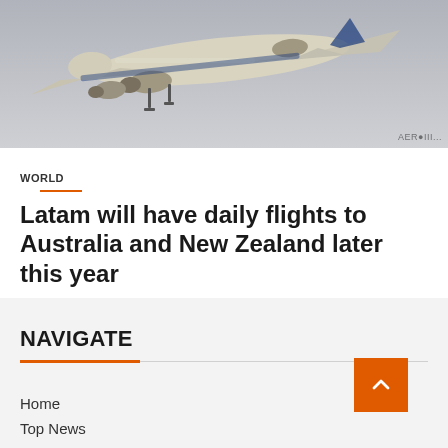[Figure (photo): Airplane (large commercial jet, undersides visible, landing gear down) photographed from below against a gray sky. Watermark in bottom right corner.]
WORLD
Latam will have daily flights to Australia and New Zealand later this year
September 4, 2022   Osbert Jordan
NAVIGATE
Home
Top News